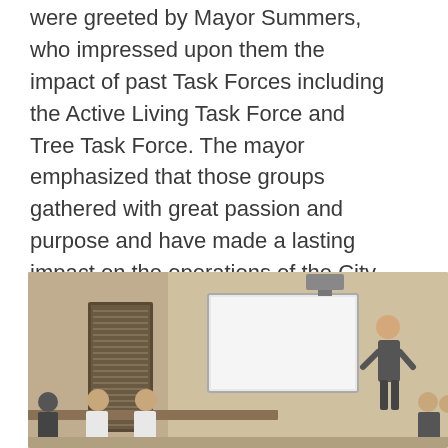were greeted by Mayor Summers, who impressed upon them the impact of past Task Forces including the Active Living Task Force and Tree Task Force. The mayor emphasized that those groups gathered with great passion and purpose and have made a lasting impact on the operations of the City. The members of the Resiliency Task Force bring that same level of passion and expertise to this long-range planning effort. The presentation slides from that meeting are available here.
[Figure (photo): A meeting room scene with several people seated around a table and a presenter standing near a whiteboard/projector screen at the front of the room.]